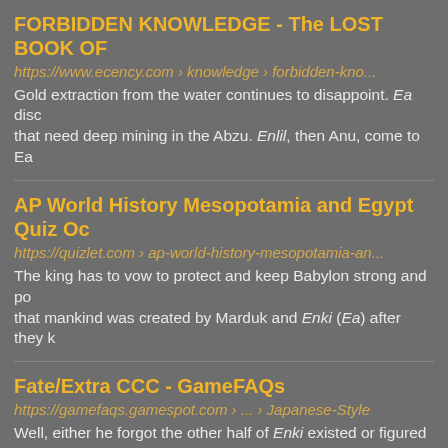FORBIDDEN KNOWLEDGE - The LOST BOOK OF
https://www.ecency.com › knowledge › forbidden-kno...
Gold extraction from the water continues to disappoint. Ea disco that need deep mining in the Abzu. Enlil, then Anu, come to Ea
AP World History Mesopotamia and Egypt Quiz Oc
https://quizlet.com › ap-world-history-mesopotamia-an...
The king has to vow to protect and keep Babylon strong and po that mankind was created by Marduk and Enki (Ea) after they k
Fate/Extra CCC - GameFAQs
https://gamefaqs.gamespot.com › ... › Japanese-Style
Well, either he forgot the other half of Enki existed or figured th was more than enough for a (technically much more instant) W
Mythology of Mesopotamia - YalaOrg - Google Site
https://sites.google.com › site › yalaorg › others › sumerians
Yala's interests in music, history, bits & pieces. ... EnKi, Ea - (m knowledge, creation, craft & mischief. [1] [2] [3]
enki audio - General Santos City - AutomoMeta